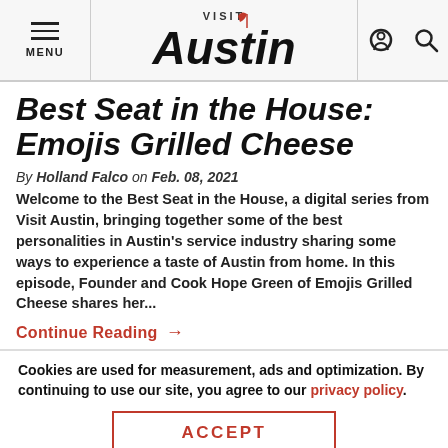MENU | Visit Austin | [icons]
Best Seat in the House: Emojis Grilled Cheese
By Holland Falco on Feb. 08, 2021
Welcome to the Best Seat in the House, a digital series from Visit Austin, bringing together some of the best personalities in Austin's service industry sharing some ways to experience a taste of Austin from home. In this episode, Founder and Cook Hope Green of Emojis Grilled Cheese shares her...
Continue Reading →
Cookies are used for measurement, ads and optimization. By continuing to use our site, you agree to our privacy policy.
ACCEPT